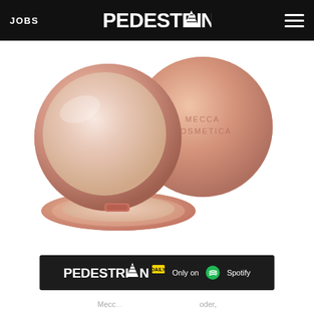JOBS | PEDESTRIAN | [hamburger menu]
[Figure (photo): Rose gold Mecca Cosmetica compact powder with mirror open showing reflection, alongside closed round rose gold compact with 'MECCA COSMETICA' engraved on lid, on white background]
[Figure (logo): Pedestrian Daily podcast banner - 'PEDESTRIAN DAILY - Only on Spotify' dark background banner]
Mecc... ...oder,